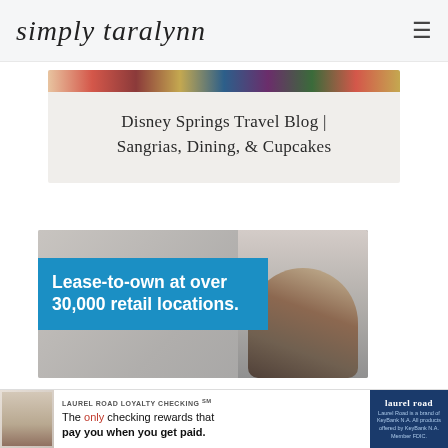simply taralynn
Disney Springs Travel Blog | Sangrias, Dining, & Cupcakes
[Figure (photo): Advertisement image showing a person doing laundry near washing machines with a blue banner overlay reading 'Lease-to-own at over 30,000 retail locations.']
[Figure (photo): Laurel Road Loyalty Checking advertisement banner at the bottom of the page with the text 'The only checking rewards that pay you when you get paid.']